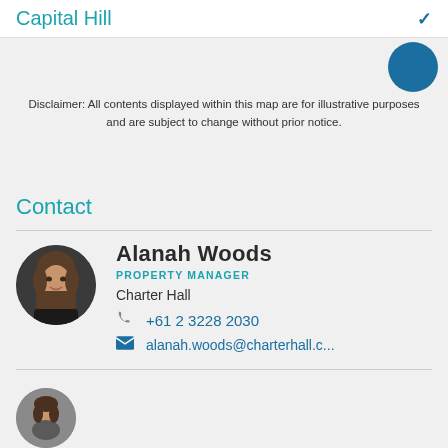Capital Hill
Disclaimer: All contents displayed within this map are for illustrative purposes and are subject to change without prior notice.
Contact
Alanah Woods
PROPERTY MANAGER
Charter Hall
+61 2 3228 2030
alanah.woods@charterhall.c...